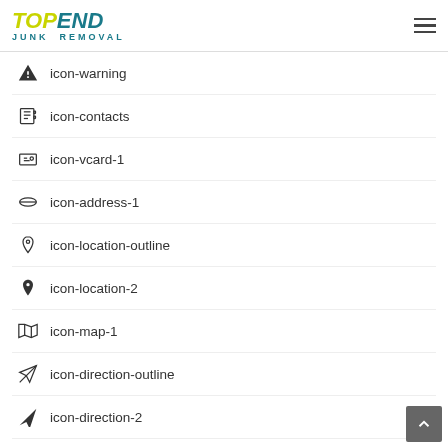TOP END JUNK REMOVAL
icon-warning
icon-contacts
icon-vcard-1
icon-address-1
icon-location-outline
icon-location-2
icon-map-1
icon-direction-outline
icon-direction-2
icon-compass-2
icon-trash-2
icon-doc-2
icon-doc-text-2
icon-doc-add